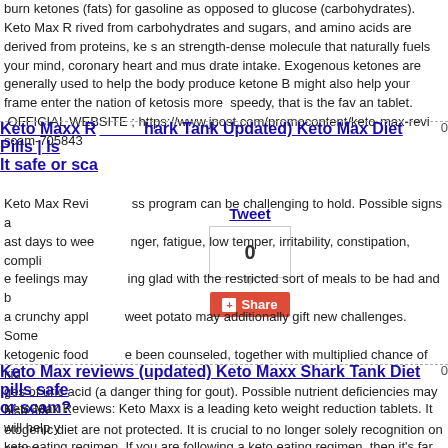burn ketones (fats) for gasoline as opposed to glucose (carbohydrates). Keto Max R rived from carbohydrates and sugars, and amino acids are derived from proteins, ke s an strength-dense molecule that naturally fuels your mind, coronary heart and mus drate intake. Exogenous ketones are generally used to help the body produce ketone B might also help your frame enter the nation of ketosis more speedy, that is the fav an tablet. OFFICIAL WEBSITE ; https://www.jpost.com/promocontent/keto-max-revi scam-705843
Keto Maxx R... hark Tank Updated) Keto Max Diet Pills | Is it safe or sca...
Tweet
0
Share
Keto Max Revi... ss program can be challenging to hold. Possible signs a ast days to wee... nger, fatigue, low temper, irritability, constipation, compli e feelings may ... ing glad with the restricted sort of meals to be had and b a crunchy appl... weet potato may additionally gift new challenges. Some ketogenic food ... e been counseled, together with multiplied chance of kid ges of uric acid (a danger thing for gout). Possible nutrient deficiencies may also sta etogenic diet are not protected. It is crucial to no longer solely recognition on consu e allowed meats, fish, veggies, end result, nuts, and seeds to ensure good enough in esium, zinc)—nutrients commonly located in meals like whole grains which can be li te meals businesses are excluded, help from a registered dietitian may be beneficial t deficiencies. Read More https://www.jpost.com/promocontent/keto-max-reviews-up 705843
Keto Max reviews (updated) Keto Maxx Shark Tank Diet pills safe or scam?
Keto Max Reviews: Keto Maxx is a leading keto weight reduction tablets. It will help y keto eating regimen. If you are following a keto eating regimen, then it's far very in a duction plan works and how taking a supplement like Keto Maxx can guide your weig eto Maxx will assist your body burn fat instead of carbs. It will assist you release the ages when you are on a keto weight loss program and help you gain your weight red